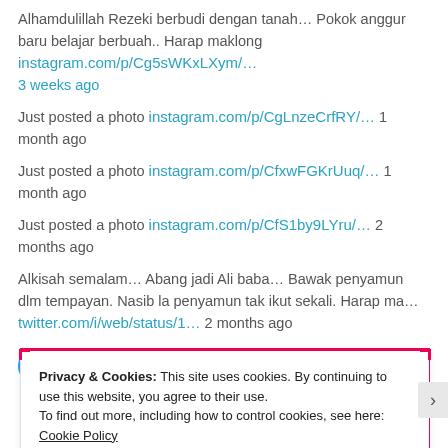Alhamdulillah Rezeki berbudi dengan tanah… Pokok anggur baru belajar berbuah.. Harap maklong instagram.com/p/Cg5sWKxLXym/… 3 weeks ago
Just posted a photo instagram.com/p/CgLnzeCrfRY/… 1 month ago
Just posted a photo instagram.com/p/CfxwFGKrUuq/… 1 month ago
Just posted a photo instagram.com/p/CfS1by9LYru/… 2 months ago
Alkisah semalam… Abang jadi Ali baba… Bawak penyamun dlm tempayan. Nasib la penyamun tak ikut sekali. Harap ma… twitter.com/i/web/status/1… 2 months ago
Follow @hadihussien
Privacy & Cookies: This site uses cookies. By continuing to use this website, you agree to their use.
To find out more, including how to control cookies, see here: Cookie Policy
Close and accept